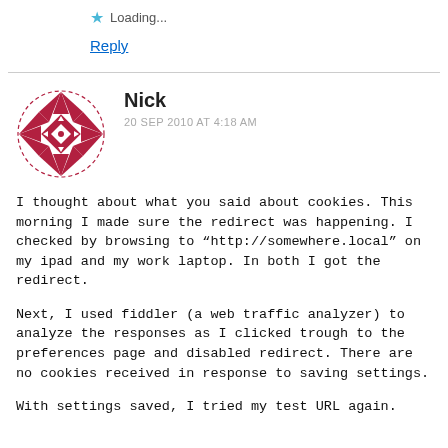Loading...
Reply
Nick
20 SEP 2010 AT 4:18 AM
[Figure (logo): Red decorative geometric star/quilt pattern avatar icon for user Nick]
I thought about what you said about cookies. This morning I made sure the redirect was happening. I checked by browsing to "http://somewhere.local" on my ipad and my work laptop. In both I got the redirect.

Next, I used fiddler (a web traffic analyzer) to analyze the responses as I clicked trough to the preferences page and disabled redirect. There are no cookies received in response to saving settings.

With settings saved, I tried my test URL again.